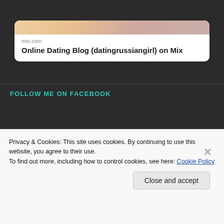[Figure (screenshot): Preview card for mix.com showing a photo of a blonde woman at top, domain 'mix.com', and title 'Online Dating Blog (datingrussiangirl) on Mix']
FOLLOW ME ON FACEBOOK
Privacy & Cookies: This site uses cookies. By continuing to use this website, you agree to their use.
To find out more, including how to control cookies, see here: Cookie Policy
Close and accept